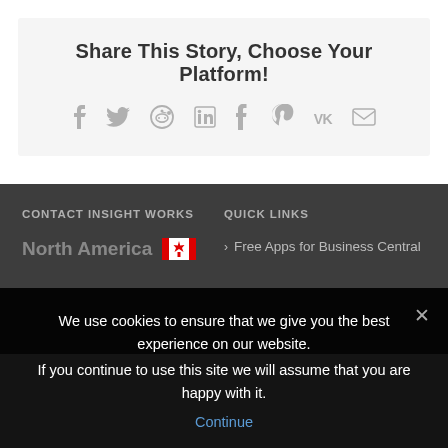Share This Story, Choose Your Platform!
[Figure (infographic): Social sharing icons: Facebook, Twitter, Reddit, LinkedIn, Tumblr, Pinterest, VK, Email]
CONTACT INSIGHT WORKS
QUICK LINKS
North America
Free Apps for Business Central
We use cookies to ensure that we give you the best experience on our website.
If you continue to use this site we will assume that you are happy with it.
Continue